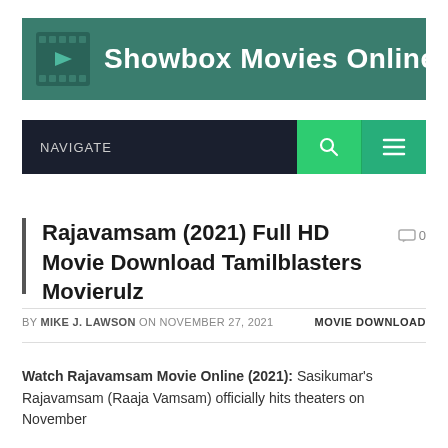[Figure (logo): Showbox Movies Online website header banner with teal background, film reel icon on the left, and white bold text 'Showbox Movies Online']
NAVIGATE
Rajavamsam (2021) Full HD Movie Download Tamilblasters Movierulz
BY MIKE J. LAWSON ON NOVEMBER 27, 2021   MOVIE DOWNLOAD
Watch Rajavamsam Movie Online (2021): Sasikumar's Rajavamsam (Raaja Vamsam) officially hits theaters on November